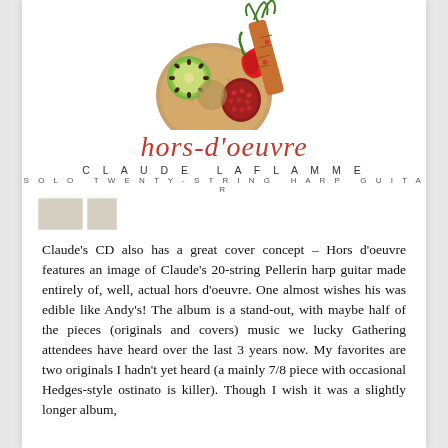[Figure (illustration): Album cover art showing a harp guitar made of food/hors d'oeuvres including kiwi, chili pepper, pomegranate, and garnished with green herbs against a white background.]
hors-d'oeuvre
CLAUDE LAFLAMME
SOLO TWENTY-STRING HARP GUITAR
[Figure (photo): Small thumbnail images at bottom left of album cover section]
Claude’s CD also has a great cover concept – Hors d’oeuvre features an image of Claude’s 20-string Pellerin harp guitar made entirely of, well, actual hors d’oeuvre.  One almost wishes his was edible like Andy’s!  The album is a stand-out, with maybe half of the pieces (originals and covers) music we lucky Gathering attendees have heard over the last 3 years now.  My favorites are two originals I hadn’t yet heard (a mainly 7/8 piece with occasional Hedges-style ostinato is killer).  Though I wish it was a slightly longer album,